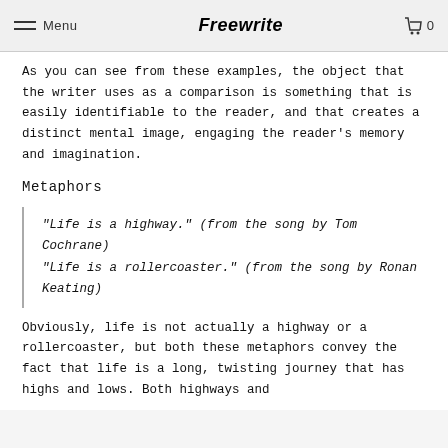Menu  Freewrite  0
As you can see from these examples, the object that the writer uses as a comparison is something that is easily identifiable to the reader, and that creates a distinct mental image, engaging the reader’s memory and imagination.
Metaphors
“Life is a highway.” (from the song by Tom Cochrane)
“Life is a rollercoaster.” (from the song by Ronan Keating)
Obviously, life is not actually a highway or a rollercoaster, but both these metaphors convey the fact that life is a long, twisting journey that has highs and lows. Both highways and